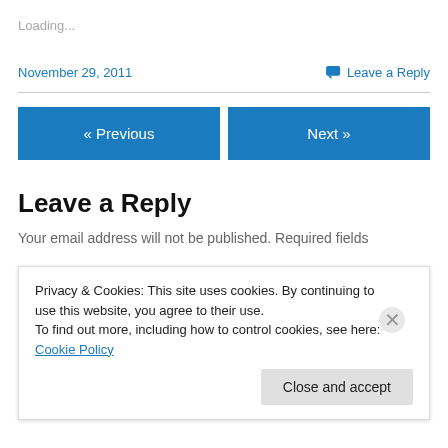Loading...
November 29, 2011
Leave a Reply
« Previous
Next »
Leave a Reply
Your email address will not be published. Required fields
Privacy & Cookies: This site uses cookies. By continuing to use this website, you agree to their use.
To find out more, including how to control cookies, see here: Cookie Policy
Close and accept